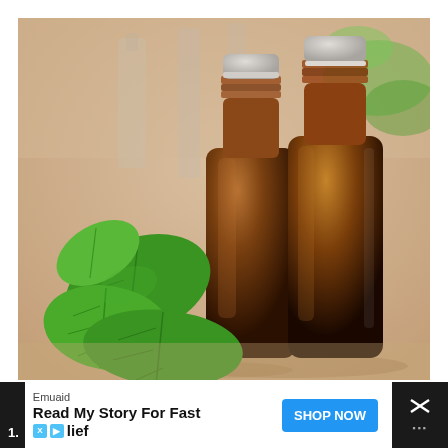[Figure (photo): Two amber glass essential oil bottles with silver caps, surrounded by fresh green mint leaves, on a warm beige wooden surface. Background shows blurred glass containers and green foliage.]
1.
Emuaid
Read My Story For Fast Relief
SHOP NOW